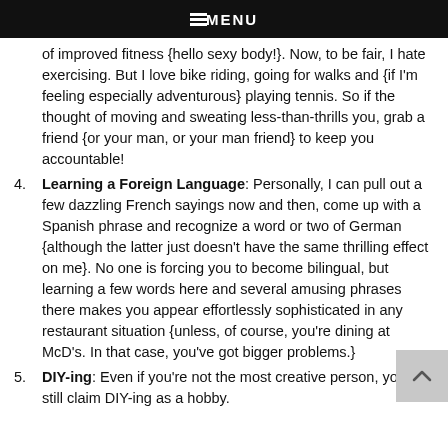MENU
of improved fitness {hello sexy body!}. Now, to be fair, I hate exercising. But I love bike riding, going for walks and {if I'm feeling especially adventurous} playing tennis. So if the thought of moving and sweating less-than-thrills you, grab a friend {or your man, or your man friend} to keep you accountable!
Learning a Foreign Language: Personally, I can pull out a few dazzling French sayings now and then, come up with a Spanish phrase and recognize a word or two of German {although the latter just doesn't have the same thrilling effect on me}. No one is forcing you to become bilingual, but learning a few words here and several amusing phrases there makes you appear effortlessly sophisticated in any restaurant situation {unless, of course, you're dining at McD's. In that case, you've got bigger problems.}
DIY-ing: Even if you're not the most creative person, you can still claim DIY-ing as a hobby.